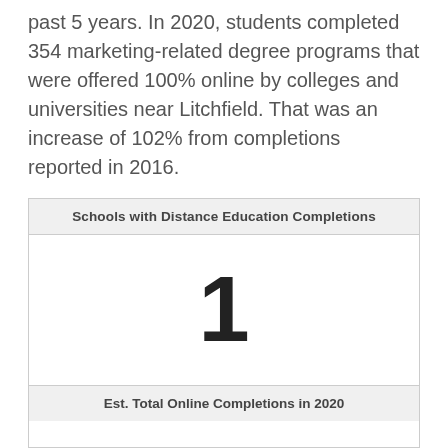past 5 years. In 2020, students completed 354 marketing-related degree programs that were offered 100% online by colleges and universities near Litchfield. That was an increase of 102% from completions reported in 2016.
| Schools with Distance Education Completions |
| --- |
| 1 |
Est. Total Online Completions in 2020